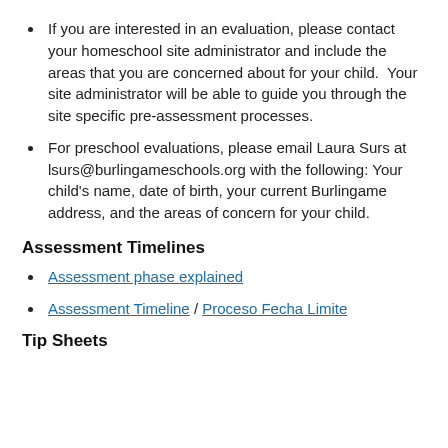If you are interested in an evaluation, please contact your homeschool site administrator and include the areas that you are concerned about for your child.  Your site administrator will be able to guide you through the site specific pre-assessment processes.
For preschool evaluations, please email Laura Surs at lsurs@burlingameschools.org with the following: Your child's name, date of birth, your current Burlingame address, and the areas of concern for your child.
Assessment Timelines
Assessment phase explained
Assessment Timeline / Proceso Fecha Limite
Tip Sheets